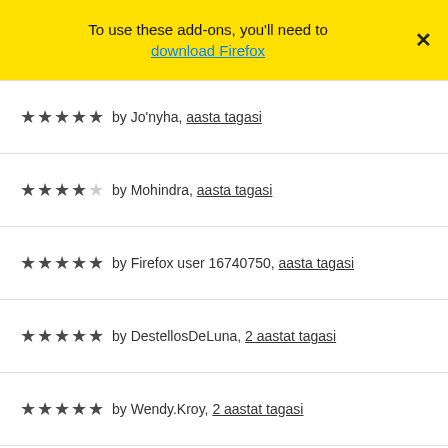To use these add-ons, you'll need to download Firefox
★★★★★ by Jo'nyha, aasta tagasi
★★★★☆ by Mohindra, aasta tagasi
★★★★★ by Firefox user 16740750, aasta tagasi
★★★★★ by DestellosDeLuna, 2 aastat tagasi
★★★★★ by Wendy.Kroy, 2 aastat tagasi
★★★★★ by Firefox user 13366791, 2 aastat tagasi